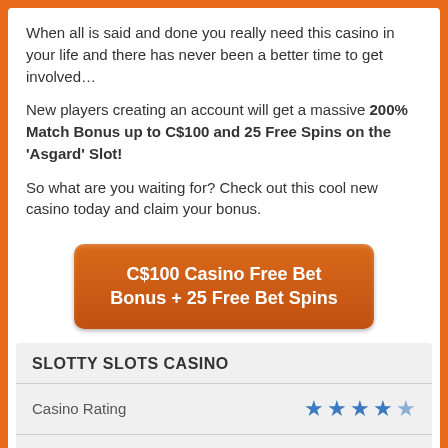When all is said and done you really need this casino in your life and there has never been a better time to get involved…
New players creating an account will get a massive 200% Match Bonus up to C$100 and 25 Free Spins on the 'Asgard' Slot!
So what are you waiting for? Check out this cool new casino today and claim your bonus.
[Figure (other): Orange CTA button reading 'C$100 Casino Free Bet Bonus + 25 Free Bet Spins']
|  |  |
| --- | --- |
| SLOTTY SLOTS CASINO |  |
| Casino Rating | 4.5 stars |
| Slotty Slots Casino / This is a super fun new casino, with over | 4.7 |